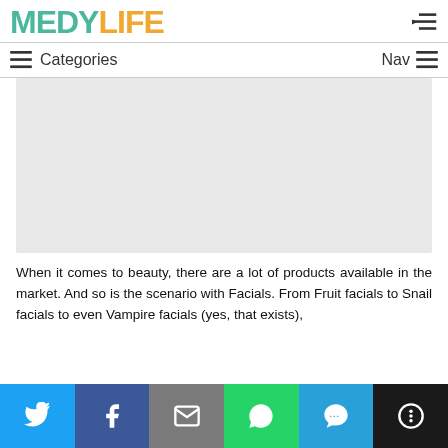MEDYLIFE — Categories — Nav
[Figure (photo): Large rectangular gray placeholder image area representing an article banner image]
When it comes to beauty, there are a lot of products available in the market. And so is the scenario with Facials. From Fruit facials to Snail facials to even Vampire facials (yes, that exists),
[Figure (infographic): Social media share buttons bar at bottom: Twitter (blue), Facebook (dark blue), Email (gray), WhatsApp (green), SMS (light blue), More (black)]